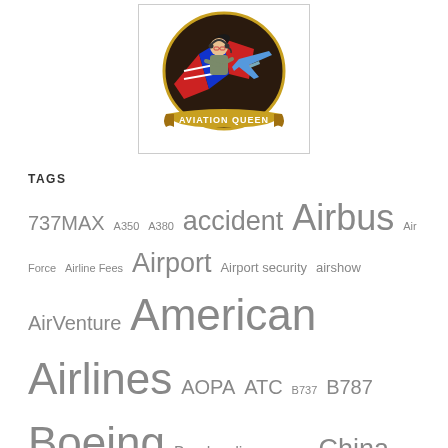[Figure (logo): Aviation Queen logo: illustrated woman with headset sitting on a red airplane, with 'AVIATION QUEEN' banner on gold scroll, dark circular background]
TAGS
737MAX A350 A380 accident Airbus Air Force Airline Fees Airport Airport security airshow AirVenture American Airlines AOPA ATC B737 B787 Boeing Bombardier Cessna China Cirrus CSeries Delta Air Lines drone EAA Eclipse electric F-35 FAA Flight Attendant flight training Frontier General Aviation jetBlue NASA NTSB Ryanair safety Southwest Tanker TSA UAV United Airlines USAF women in aviation